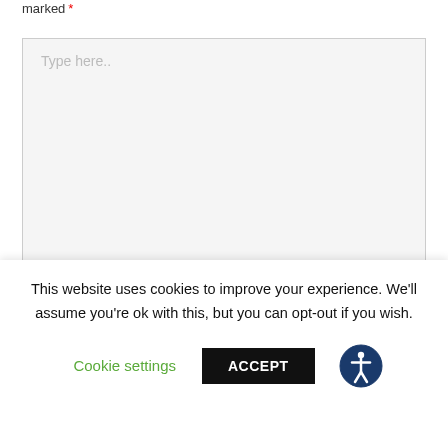marked *
[Figure (screenshot): A large textarea input box with light gray background and placeholder text 'Type here..' with a resize handle at the bottom right corner]
[Figure (screenshot): A partially visible second input field box at the bottom]
This website uses cookies to improve your experience. We'll assume you're ok with this, but you can opt-out if you wish.
Cookie settings
ACCEPT